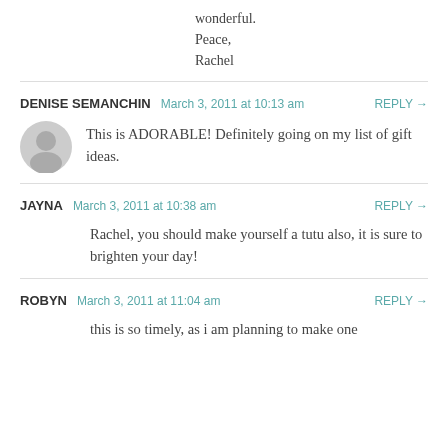wonderful.
Peace,
Rachel
DENISE SEMANCHIN   March 3, 2011 at 10:13 am   REPLY →
This is ADORABLE! Definitely going on my list of gift ideas.
JAYNA   March 3, 2011 at 10:38 am   REPLY →
Rachel, you should make yourself a tutu also, it is sure to brighten your day!
ROBYN   March 3, 2011 at 11:04 am   REPLY →
this is so timely, as i am planning to make one